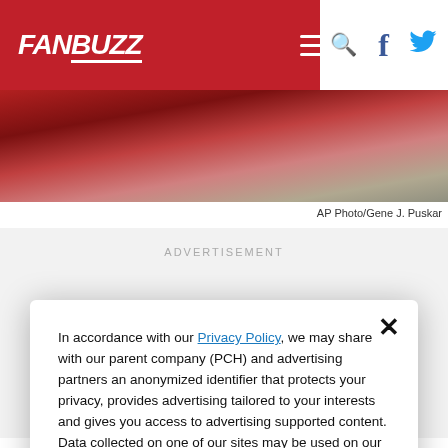FANBUZZ
[Figure (photo): Sports photo (cropped) showing a person in a red jersey, close-up of face/neck area. AP Photo credit.]
AP Photo/Gene J. Puskar
[Figure (screenshot): Advertisement placeholder area with label ADVERTISEMENT]
In accordance with our Privacy Policy, we may share with our parent company (PCH) and advertising partners an anonymized identifier that protects your privacy, provides advertising tailored to your interests and gives you access to advertising supported content. Data collected on one of our sites may be used on our other owned and operated sites, which sites are identified in our Privacy Policy. All of our sites are governed by the same Privacy Policy, and by proceeding to access this site, you are consenting to that Privacy Policy.